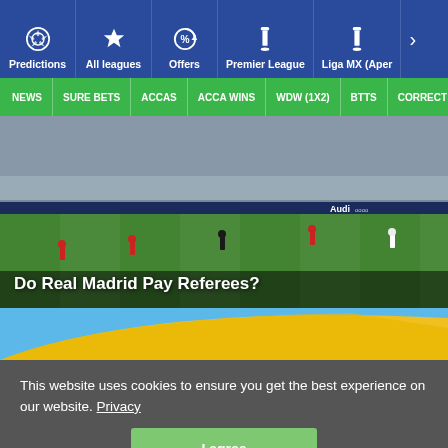Predictions | All leagues | Offers | Premier League | Liga MX (Aper
NEWS | SURE BETS | ACCAS | ACCA WINS | WDW (1X2) | BTTS | CORRECT
[Figure (photo): Football stadium with players on the pitch, Audi advertising boards visible, large crowd in stands. Overlay text: Do Real Madrid Pay Referees?]
Do Real Madrid Pay Referees?
[Figure (photo): Close-up of yellow and blue fabric or flag]
This website uses cookies to ensure you get the best experience on our website. Privacy
I agree